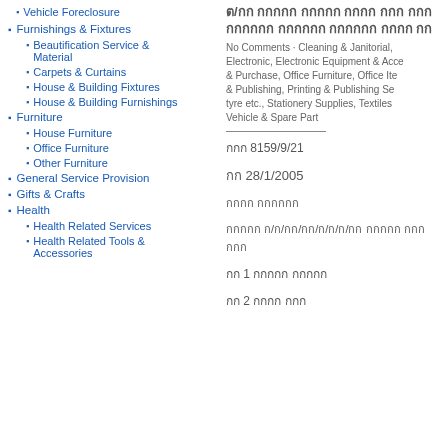Vehicle Foreclosure
Furnishings & Fixtures
Beautification Service & Material
Carpets & Curtains
House & Building Fixtures
House & Building Furnishings
Furniture
House Furniture
Office Furniture
Other Furniture
General Service Provision
Gifts & Crafts
Health
Health Related Services
Health Related Tools & Accessories
ต/กก กกกกก กกกกก กกกก กกก กกก กกกกกก กกกกกก กกกกกก กกกก กก
No Comments · Cleaning & Janitorial, Electronic, Electronic Equipment & Accessories & Purchase, Office Furniture, Office Items & Publishing, Printing & Publishing Services, tyre etc., Stationery Supplies, Textiles Vehicle & Spare Part
กกก 8159/9/21
กก 28/1/2005
กกกก กกกกกก
กกกกก ก/ก/กก/กก/ก/ก/ก/กก กกกกก กกก กกก
กก 1 กกกกก กกกกก
กก 2 กกกก กกก